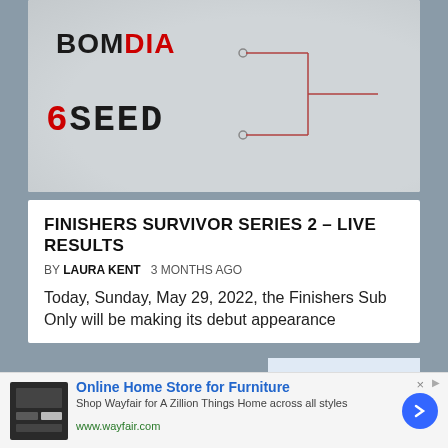[Figure (other): Tournament bracket graphic with BOMDIA and 6SEED brands connected by bracket lines on a light grey background]
FINISHERS SURVIVOR SERIES 2 – LIVE RESULTS
BY LAURA KENT   3 MONTHS AGO
Today, Sunday, May 29, 2022, the Finishers Sub Only will be making its debut appearance
[Figure (screenshot): Top Articles video overlay panel showing two side-by-side video thumbnails (martial arts / jiu-jitsu), play controls, and Facebook founder Mark caption]
[Figure (photo): Black and white photo of three men's faces, with EVENTS and JIU-JITSU tags overlaid]
[Figure (other): Advertisement banner: Online Home Store for Furniture - Shop Wayfair for A Zillion Things Home across all styles - www.wayfair.com]